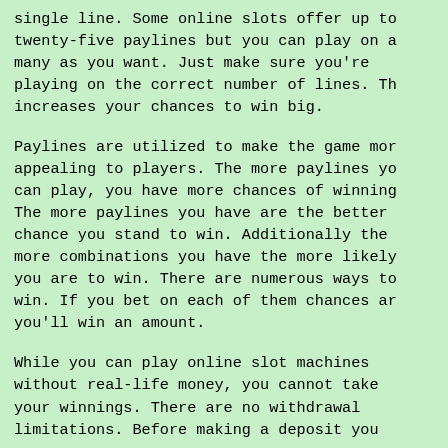single line. Some online slots offer up to twenty-five paylines but you can play on a many as you want. Just make sure you're playing on the correct number of lines. Th increases your chances to win big.
Paylines are utilized to make the game mor appealing to players. The more paylines yo can play, you have more chances of winning The more paylines you have are the better chance you stand to win. Additionally the more combinations you have the more likely you are to win. There are numerous ways to win. If you bet on each of them chances ar you'll win an amount.
While you can play online slot machines without real-life money, you cannot take your winnings. There are no withdrawal limitations. Before making a deposit you